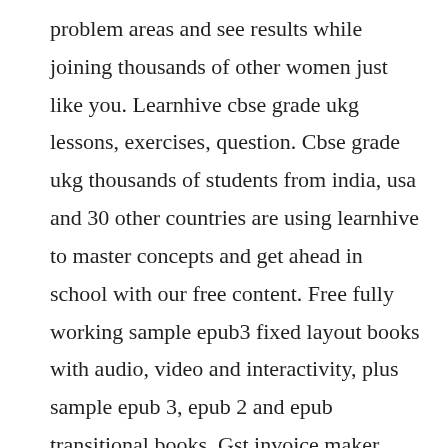problem areas and see results while joining thousands of other women just like you. Learnhive cbse grade ukg lessons, exercises, question. Cbse grade ukg thousands of students from india, usa and 30 other countries are using learnhive to master concepts and get ahead in school with our free content. Free fully working sample epub3 fixed layout books with audio, video and interactivity, plus sample epub 3, epub 2 and epub transitional books. Gst invoice maker provides an easy way to create, manage,